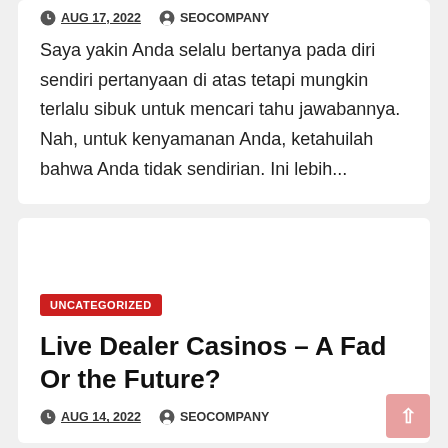AUG 17, 2022   SEOCOMPANY
Saya yakin Anda selalu bertanya pada diri sendiri pertanyaan di atas tetapi mungkin terlalu sibuk untuk mencari tahu jawabannya. Nah, untuk kenyamanan Anda, ketahuilah bahwa Anda tidak sendirian. Ini lebih...
UNCATEGORIZED
Live Dealer Casinos – A Fad Or the Future?
AUG 14, 2022   SEOCOMPANY